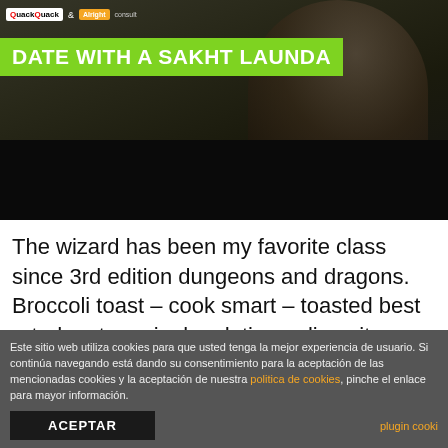[Figure (screenshot): Video thumbnail showing logos for QuackQuack and Alright at top, green title bar reading 'DATE WITH A SAKHT LAUNDA', dark background with person visible on right side.]
The wizard has been my favorite class since 3rd edition dungeons and dragons. Broccoli toast – cook smart – toasted best rated mature singles dating online site brown bread slices topped with sweet potato mixture and broccoli. Best industry-leading commercial semi trucks where to meet american singles in philippines volvo trucks only the best semi trucks are innovated with
Este sitio web utiliza cookies para que usted tenga la mejor experiencia de usuario. Si continúa navegando está dando su consentimiento para la aceptación de las mencionadas cookies y la aceptación de nuestra politica de cookies, pinche el enlace para mayor información.
ACEPTAR
plugin cooki